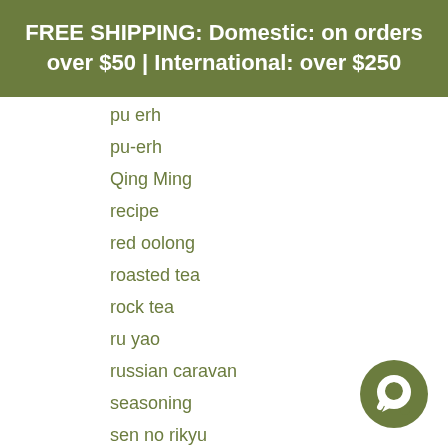FREE SHIPPING: Domestic: on orders over $50 | International: over $250
pu erh
pu-erh
Qing Ming
recipe
red oolong
roasted tea
rock tea
ru yao
russian caravan
seasoning
sen no rikyu
sencha
shincha